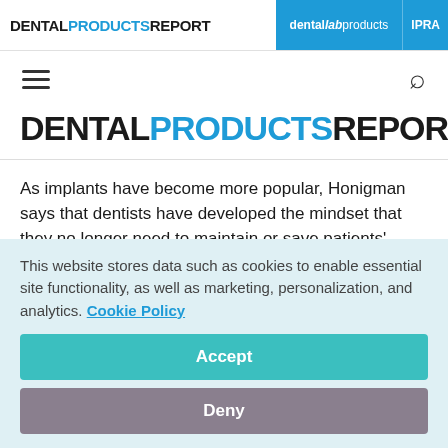DENTAL PRODUCTS REPORT | dental lab products | IPRA
[Figure (logo): Dental Products Report main logo with DENTAL in black, PRODUCTS in blue, REPORT in black, with registered trademark symbol]
As implants have become more popular, Honigman says that dentists have developed the mindset that they no longer need to maintain or save patients' teeth. They're taught, and they
This website stores data such as cookies to enable essential site functionality, as well as marketing, personalization, and analytics. Cookie Policy
Accept
Deny